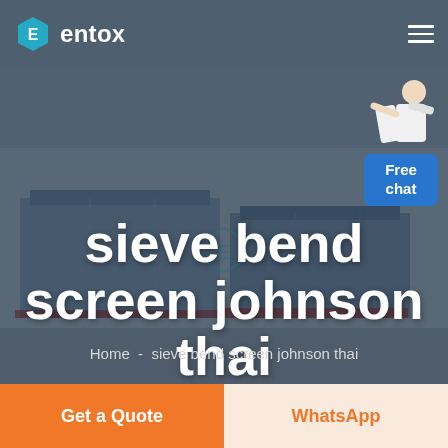entox
[Figure (photo): Aerial view of a large industrial factory complex with blue-roofed buildings, overlaid with dark semi-transparent tint. Entox logo watermark visible in center.]
sieve bend screen johnson thai
Home - sieve bend screen johnson thai
Free chat
Get a Quote
WhatsApp